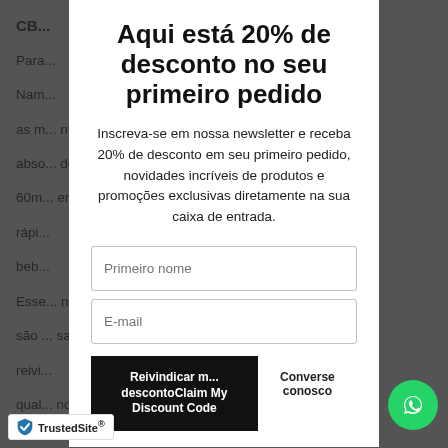Aqui está 20% de desconto no seu primeiro pedido
Inscreva-se em nossa newsletter e receba 20% de desconto em seu primeiro pedido, novidades incríveis de produtos e promoções exclusivas diretamente na sua caixa de entrada.
Primeiro nome
E-mail
Reivindicar meu desconto / Claim My Discount Code
Converse conosco